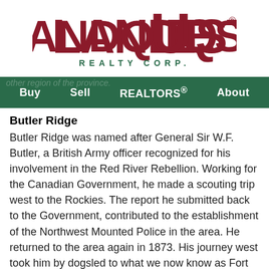[Figure (logo): LandQuest Realty Corp. logo — large red serif wordmark with REALTY CORP. in green spaced capitals beneath]
Buy   Sell   REALTORS®   About
Butler Ridge
Butler Ridge was named after General Sir W.F. Butler, a British Army officer recognized for his involvement in the Red River Rebellion. Working for the Canadian Government, he made a scouting trip west to the Rockies. The report he submitted back to the Government, contributed to the establishment of the Northwest Mounted Police in the area. He returned to the area again in 1873. His journey west took him by dogsled to what we now know as Fort St. John. He continued on to Hudson's Hope by horseback and from there paddled the Peace River by canoe. Since that time the area has received many names such as the Butler Range, Butler Mountain, and eventually to what we